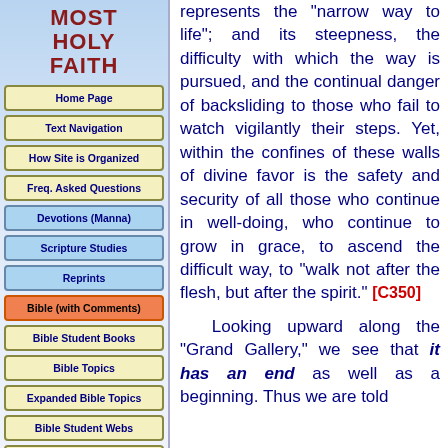MOST HOLY FAITH
Home Page
Text Navigation
How Site is Organized
Freq. Asked Questions
Devotions (Manna)
Scripture Studies
Reprints
Bible (with Comments)
Bible Student Books
Bible Topics
Expanded Bible Topics
Bible Student Webs
Miscellaneous
represents the "narrow way to life"; and its steepness, the difficulty with which the way is pursued, and the continual danger of backsliding to those who fail to watch vigilantly their steps. Yet, within the confines of these walls of divine favor is the safety and security of all those who continue in well-doing, who continue to grow in grace, to ascend the difficult way, to "walk not after the flesh, but after the spirit." [C350]
Looking upward along the "Grand Gallery," we see that it has an end as well as a beginning. Thus we are told